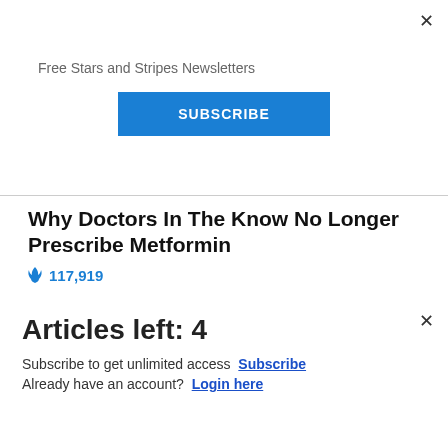Free Stars and Stripes Newsletters
SUBSCRIBE
Why Doctors In The Know No Longer Prescribe Metformin
🔥 117,919
[Figure (photo): Four women in yellow uniforms smiling, holding cleaning equipment against a brown background]
Articles left: 4
Subscribe to get unlimited access Subscribe
Already have an account? Login here